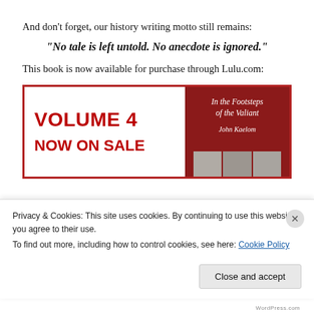And don’t forget, our history writing motto still remains:
“No tale is left untold. No anecdote is ignored.”
This book is now available for purchase through Lulu.com:
[Figure (illustration): Book advertisement banner for 'In the Footsteps of the Valiant' Volume 4 by John Kaelom, showing red text 'VOLUME 4 NOW ON SALE' on the left and a dark red book cover on the right with historical photos at the bottom.]
Privacy & Cookies: This site uses cookies. By continuing to use this website, you agree to their use.
To find out more, including how to control cookies, see here: Cookie Policy
Close and accept